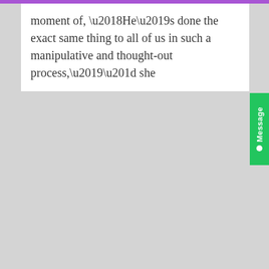moment of, ‘He’s done the exact same thing to all of us in such a manipulative and thought-out process,’” she